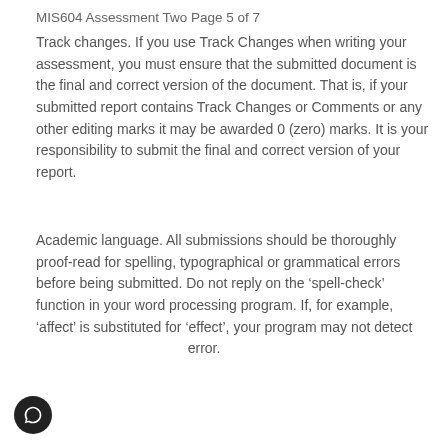MIS604 Assessment Two Page 5 of 7
Track changes. If you use Track Changes when writing your assessment, you must ensure that the submitted document is the final and correct version of the document. That is, if your submitted report contains Track Changes or Comments or any other editing marks it may be awarded 0 (zero) marks. It is your responsibility to submit the final and correct version of your report.
Academic language. All submissions should be thoroughly proof-read for spelling, typographical or grammatical errors before being submitted. Do not reply on the ‘spell-check’ function in your word processing program. If, for example, ‘affect’ is substituted for ‘effect’, your program may not detect error.